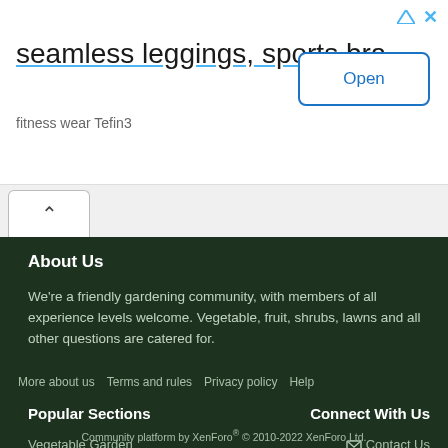[Figure (other): Advertisement banner: seamless leggings, sports bra — fitness wear Tefin3, with Open button]
About Us
We're a friendly gardening community, with members of all experience levels welcome. Vegetable, fruit, shrubs, lawns and all other questions are catered for.
More about us
Terms and rules
Privacy policy
Help
Popular Sections
Connect With Us
Vegetable Garden
Growing Fruit
Plant Identification
Garden Pests and Diseases
Contact Us
RSS
Community platform by XenForo® © 2010-2022 XenForo Ltd.